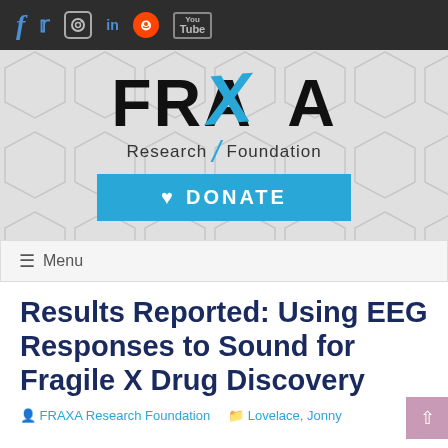FRAXA Research Foundation — social media bar with Facebook, Twitter, Instagram, LinkedIn, Reddit, YouTube icons
[Figure (logo): FRAXA Research Foundation logo with hexagonal background pattern and cyan/blue X, and DONATE button below]
≡ Menu
Results Reported: Using EEG Responses to Sound for Fragile X Drug Discovery
FRAXA Research Foundation    Lovelace, Jonny